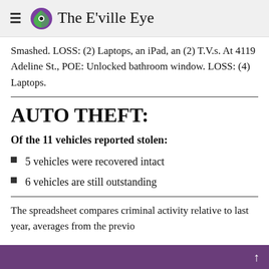The E'ville Eye
Smashed. LOSS: (2) Laptops, an iPad, an (2) T.V.s. At 4119 Adeline St., POE: Unlocked bathroom window. LOSS: (4) Laptops.
AUTO THEFT:
Of the 11 vehicles reported stolen:
5 vehicles were recovered intact
6 vehicles are still outstanding
The spreadsheet compares criminal activity relative to last year, averages from the previo